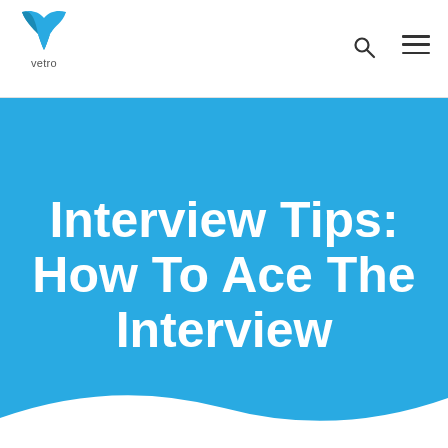[Figure (logo): Vetro logo: blue checkmark/V shape above the word 'vetro' in dark gray]
Interview Tips: How To Ace The Interview